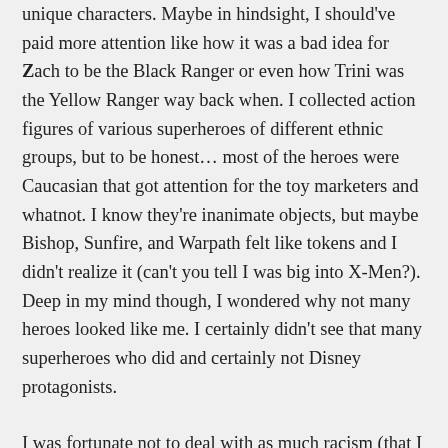unique characters. Maybe in hindsight, I should've paid more attention like how it was a bad idea for Zach to be the Black Ranger or even how Trini was the Yellow Ranger way back when. I collected action figures of various superheroes of different ethnic groups, but to be honest... most of the heroes were Caucasian that got attention for the toy marketers and whatnot. I know they're inanimate objects, but maybe Bishop, Sunfire, and Warpath felt like tokens and I didn't realize it (can't you tell I was big into X-Men?). Deep in my mind though, I wondered why not many heroes looked like me. I certainly didn't see that many superheroes who did and certainly not Disney protagonists.
I was fortunate not to deal with as much racism (that I know of) during my elementary school years. Sure, I had my own issues growing up, but nothing too severe as far as bigotry was.